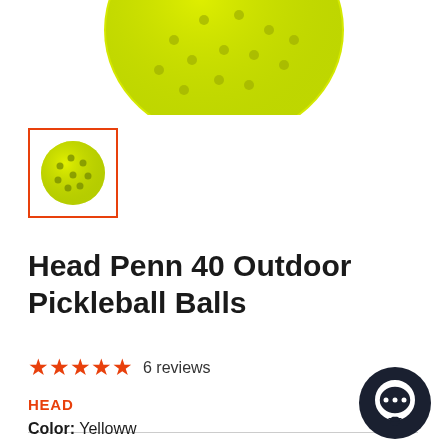[Figure (photo): Yellow pickleball photographed from above, partially cropped at top of page]
[Figure (photo): Thumbnail image of a yellow outdoor pickleball with holes, inside an orange/red border box indicating it is selected]
Head Penn 40 Outdoor Pickleball Balls
★★★★★ 6 reviews
HEAD
Color:  Yelloww
[Figure (other): Dark circular chat/messenger button icon in bottom right corner]